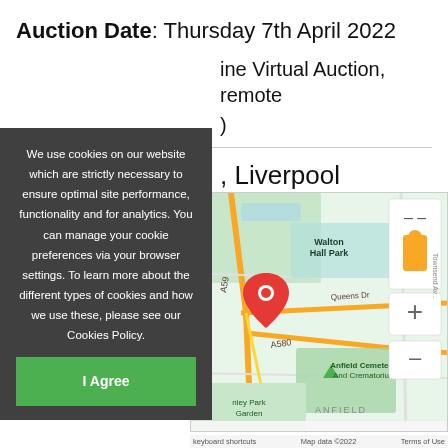Auction Date: Thursday 7th April 2022
ine Virtual Auction, remote
)
, Liverpool
[Figure (map): Google Maps screenshot showing Liverpool area with red location pin near A59/A580 junction, showing Walton Hall Park, Anfield Cemetery And Crematorium, Queens Dr, and Anfield area labels. Map controls show zoom in/out buttons and street view person icon.]
We use cookies on our website which are strictly necessary to ensure optimal site performance, functionality and for analytics. You can manage your cookie preferences via your browser settings. To learn more about the different types of cookies and how we use these, please see our Cookies Policy.
I Agree
keyboard shortcuts   Map data ©2022   Terms of Use